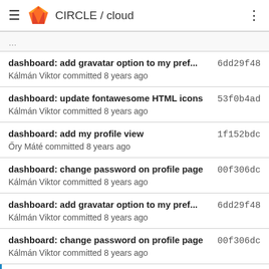CIRCLE / cloud
dashboard: add gravatar option to my pref... 6dd29f48
Kálmán Viktor committed 8 years ago
dashboard: update fontawesome HTML icons 53f0b4ad
Kálmán Viktor committed 8 years ago
dashboard: add my profile view 1f152bdc
Őry Máté committed 8 years ago
dashboard: change password on profile page 00f306dc
Kálmán Viktor committed 8 years ago
dashboard: add gravatar option to my pref... 6dd29f48
Kálmán Viktor committed 8 years ago
dashboard: change password on profile page 00f306dc
Kálmán Viktor committed 8 years ago
dashboard: basic 2fa profile settings 0acchbd3